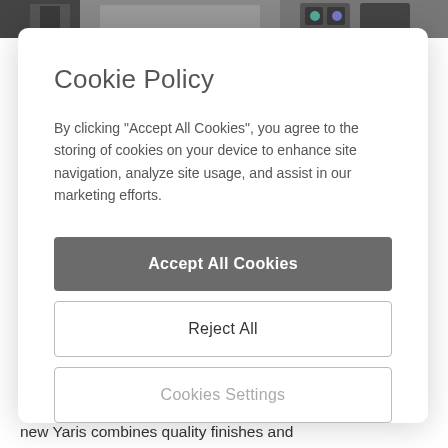[Figure (screenshot): Top strip showing a car interior dashboard with smartphone mounted, partially visible]
Cookie Policy
By clicking “Accept All Cookies”, you agree to the storing of cookies on your device to enhance site navigation, analyze site usage, and assist in our marketing efforts.
Accept All Cookies
Reject All
Cookies Settings
With a modern, inviting and stylish interior, new Yaris combines quality finishes and